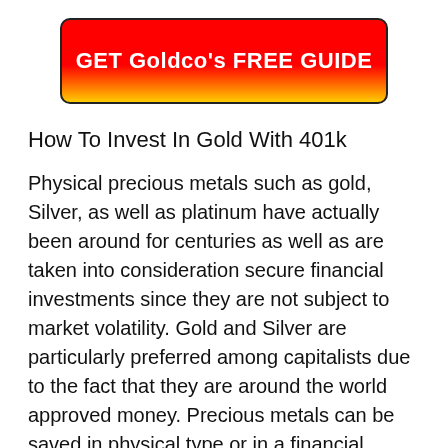[Figure (other): Red to yellow gradient button with bold white text reading 'GET Goldco's FREE GUIDE']
How To Invest In Gold With 401k
Physical precious metals such as gold, Silver, as well as platinum have actually been around for centuries as well as are taken into consideration secure financial investments since they are not subject to market volatility. Gold and Silver are particularly preferred among capitalists due to the fact that they are around the world approved money. Precious metals can be saved in physical type or in a financial investment car such as a mutual fund or ETF.